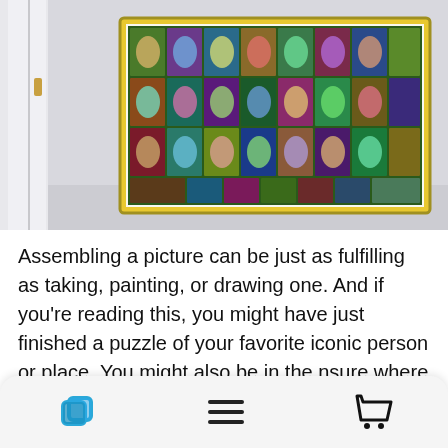[Figure (photo): A framed collage poster of Nancy Drew book covers displayed on a white wall in a room, with a door visible on the left side. The poster has a yellow border and contains rows of colorful vintage Nancy Drew mystery book cover illustrations.]
Assembling a picture can be just as fulfilling as taking, painting, or drawing one. And if you're reading this, you might have just finished a puzzle of your favorite iconic person or place. You might also be in the [obscured] nsure where to [obscured]